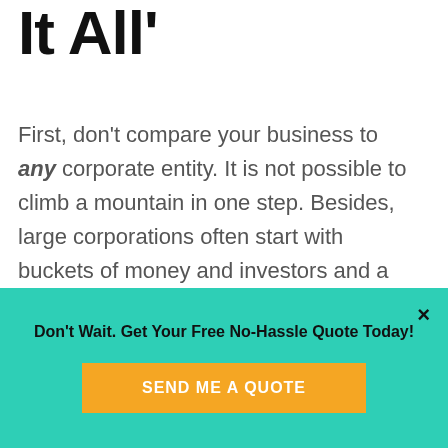It All'
First, don't compare your business to any corporate entity. It is not possible to climb a mountain in one step. Besides, large corporations often start with buckets of money and investors and a team of smart people. Maybe use corporate entities as a goal.
Secondly, a way to emulate a
Don't Wait. Get Your Free No-Hassle Quote Today!
SEND ME A QUOTE